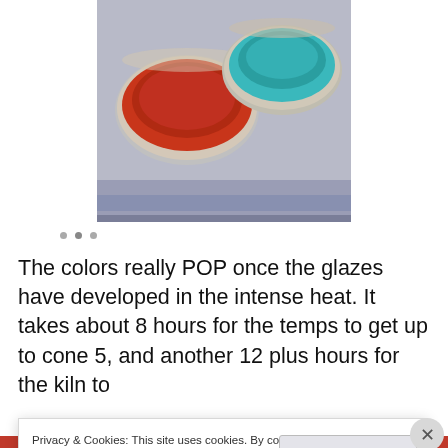[Figure (photo): Photo of two ceramic bowls from above — one red/orange bowl on the left and one teal/turquoise bowl on the right, resting on a gray-blue surface.]
The colors really POP once the glazes have developed in the intense heat. It takes about 8 hours for the temps to get up to cone 5, and another 12 plus hours for the kiln to
Privacy & Cookies: This site uses cookies. By continuing to use this website, you agree to their use.
To find out more, including how to control cookies, see here: Cookie Policy
Close and accept